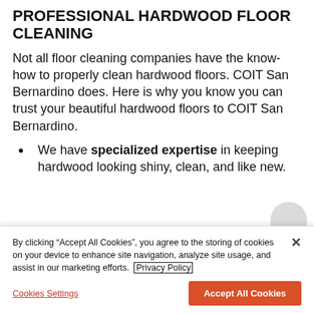PROFESSIONAL HARDWOOD FLOOR CLEANING
Not all floor cleaning companies have the know-how to properly clean hardwood floors. COIT San Bernardino does. Here is why you know you can trust your beautiful hardwood floors to COIT San Bernardino.
We have specialized expertise in keeping hardwood looking shiny, clean, and like new.
By clicking “Accept All Cookies”, you agree to the storing of cookies on your device to enhance site navigation, analyze site usage, and assist in our marketing efforts. Privacy Policy
Cookies Settings | Accept All Cookies